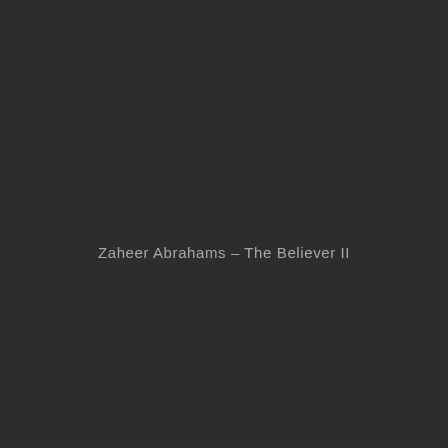Zaheer Abrahams – The Believer II